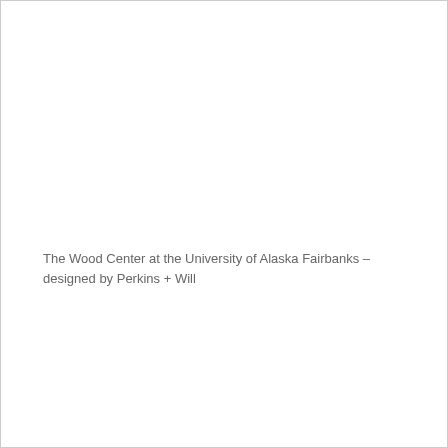The Wood Center at the University of Alaska Fairbanks – designed by Perkins + Will